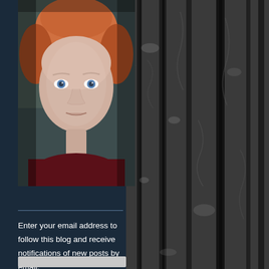[Figure (photo): Portrait photo of a woman with short reddish hair and blue eyes, wearing a dark red top, photographed in a dimly lit setting with outdoor background.]
[Figure (photo): Background texture of dark grey tree bark with deep grooves and rough texture, taking up the right portion of the page.]
Enter your email address to follow this blog and receive notifications of new posts by email.